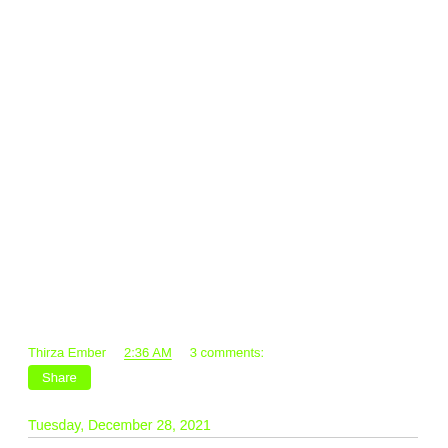Thirza Ember   2:36 AM   3 comments:
Share
Tuesday, December 28, 2021